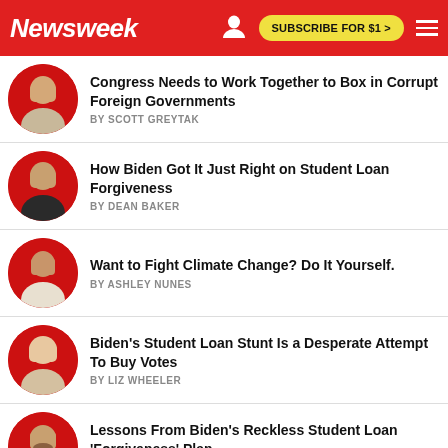Newsweek — SUBSCRIBE FOR $1 >
Congress Needs to Work Together to Box in Corrupt Foreign Governments — BY SCOTT GREYTAK
How Biden Got It Just Right on Student Loan Forgiveness — BY DEAN BAKER
Want to Fight Climate Change? Do It Yourself. — BY ASHLEY NUNES
Biden's Student Loan Stunt Is a Desperate Attempt To Buy Votes — BY LIZ WHEELER
Lessons From Biden's Reckless Student Loan 'Forgiveness' Plan — BY JOSH HAMMER